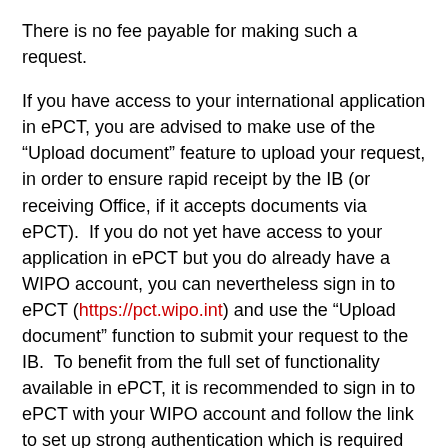There is no fee payable for making such a request.
If you have access to your international application in ePCT, you are advised to make use of the “Upload document” feature to upload your request, in order to ensure rapid receipt by the IB (or receiving Office, if it accepts documents via ePCT).  If you do not yet have access to your application in ePCT but you do already have a WIPO account, you can nevertheless sign in to ePCT (https://pct.wipo.int) and use the “Upload document” function to submit your request to the IB.  To benefit from the full set of functionality available in ePCT, it is recommended to sign in to ePCT with your WIPO account and follow the link to set up strong authentication which is required for secure online access in order to file and manage your applications securely.
Further information on setting up an account and making use of ePCT’s facilities is available in the FAQs of the PCT eServices Help page at: